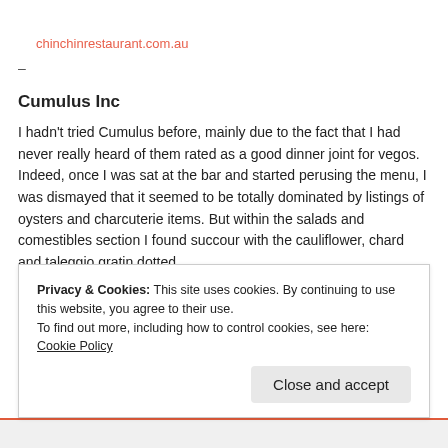chinchinrestaurant.com.au
–
Cumulus Inc
I hadn't tried Cumulus before, mainly due to the fact that I had never really heard of them rated as a good dinner joint for vegos. Indeed, once I was sat at the bar and started perusing the menu, I was dismayed that it seemed to be totally dominated by listings of oysters and charcuterie items. But within the salads and comestibles section I found succour with the cauliflower, chard and taleggio gratin dotted
Privacy & Cookies: This site uses cookies. By continuing to use this website, you agree to their use.
To find out more, including how to control cookies, see here: Cookie Policy